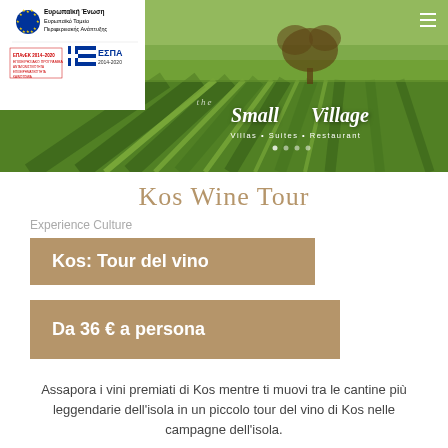[Figure (photo): Vineyard hero image with rows of grapevines, green landscape, with EU funding logos overlay on left and The Small Village brand logo in center. Hamburger menu icon top right.]
Kos Wine Tour
Experience Culture
Kos: Tour del vino
Da 36 € a persona
Assapora i vini premiati di Kos mentre ti muovi tra le cantine più leggendarie dell'isola in un piccolo tour del vino di Kos nelle campagne dell'isola.